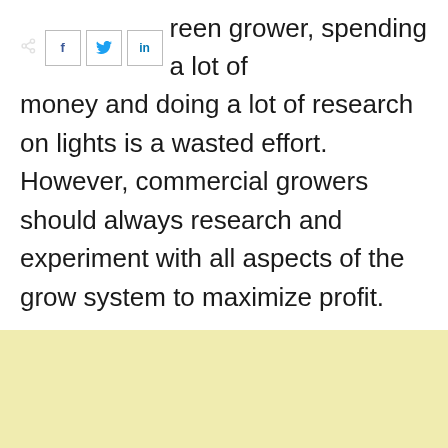As a home micro green grower, spending a lot of money and doing a lot of research on lights is a wasted effort. However, commercial growers should always research and experiment with all aspects of the grow system to maximize profit.
[Figure (other): Light yellow/cream colored background block (advertisement or content area placeholder)]